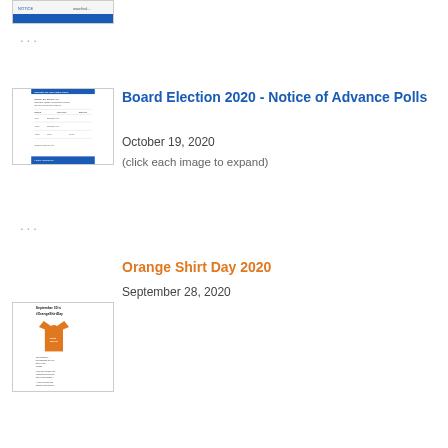[Figure (screenshot): Partial thumbnail of a document at top of page, partially cut off]
...
Board Election 2020 - Notice of Advance Polls
October 19, 2020
(click each image to expand)
...
Orange Shirt Day 2020
September 28, 2020
[Figure (screenshot): Thumbnail image for Orange Shirt Day 2020 showing orange t-shirt and text 'September 30 is #OrangeShirtDay']